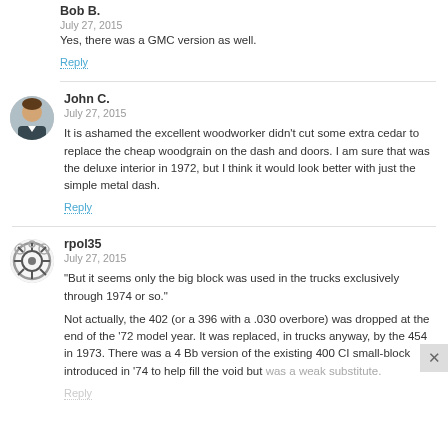Bob B.
July 27, 2015
Yes, there was a GMC version as well.
Reply
John C.
July 27, 2015
It is ashamed the excellent woodworker didn't cut some extra cedar to replace the cheap woodgrain on the dash and doors. I am sure that was the deluxe interior in 1972, but I think it would look better with just the simple metal dash.
Reply
rpol35
July 27, 2015
"But it seems only the big block was used in the trucks exclusively through 1974 or so."
Not actually, the 402 (or a 396 with a .030 overbore) was dropped at the end of the '72 model year. It was replaced, in trucks anyway, by the 454 in 1973. There was a 4 Bb version of the existing 400 CI small-block introduced in '74 to help fill the void but was a weak substitute.
Reply